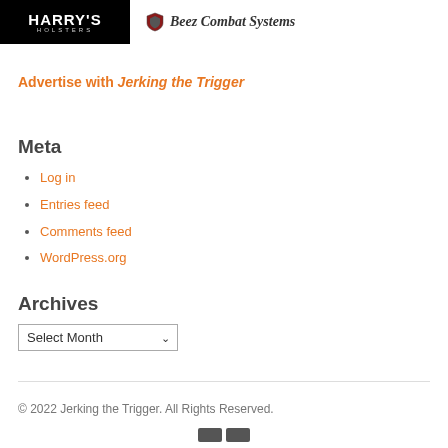[Figure (logo): Harry's Holsters logo - black background with white bold text]
[Figure (logo): Beez Combat Systems logo with shield icon and gothic-style text]
Advertise with Jerking the Trigger
Meta
Log in
Entries feed
Comments feed
WordPress.org
Archives
Select Month
© 2022 Jerking the Trigger. All Rights Reserved.